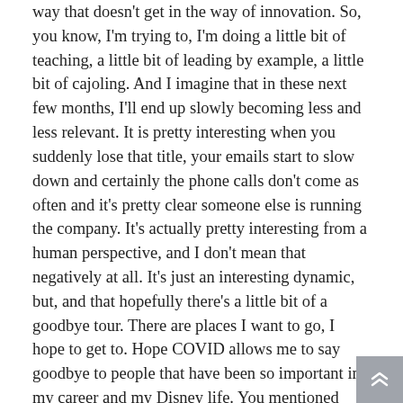way that doesn't get in the way of innovation. So, you know, I'm trying to, I'm doing a little bit of teaching, a little bit of leading by example, a little bit of cajoling. And I imagine that in these next few months, I'll end up slowly becoming less and less relevant. It is pretty interesting when you suddenly lose that title, your emails start to slow down and certainly the phone calls don't come as often and it's pretty clear someone else is running the company. It's actually pretty interesting from a human perspective, and I don't mean that negatively at all. It's just an interesting dynamic, but, and that hopefully there's a little bit of a goodbye tour. There are places I want to go, I hope to get to. Hope COVID allows me to say goodbye to people that have been so important in my career and my Disney life. You mentioned Shanghai at the beginning, we celebrate our fifth anniversary there this spring, and I'm intent on getting back there and seeing it one more time, as a non-civilian, and visiting a few other places and maybe a cruise.